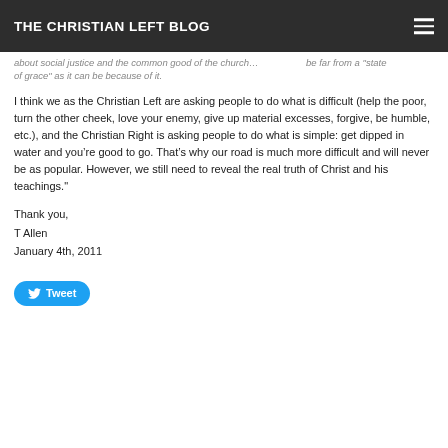THE CHRISTIAN LEFT BLOG
of grace" as it can be because of it.
I think we as the Christian Left are asking people to do what is difficult (help the poor, turn the other cheek, love your enemy, give up material excesses, forgive, be humble, etc.), and the Christian Right is asking people to do what is simple: get dipped in water and you’re good to go. That’s why our road is much more difficult and will never be as popular. However, we still need to reveal the real truth of Christ and his teachings."
Thank you,
T Allen
January 4th, 2011
[Figure (other): Tweet button with Twitter bird icon]